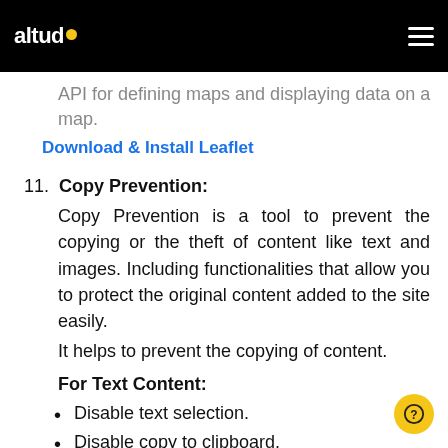altudo
The well-organized data integrations.
Have a lightweight and easy-to-use API for defining maps and displaying data on a map.
Download & Install Leaflet
11. Copy Prevention:
Copy Prevention is a tool to prevent the copying or the theft of content like text and images. Including functionalities that allow you to protect the original content added to the site easily.
It helps to prevent the copying of content.
For Text Content:
Disable text selection.
Disable copy to clipboard.